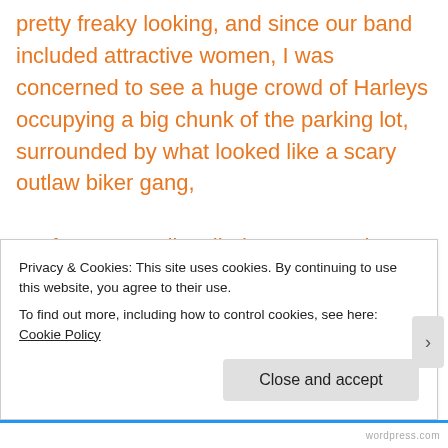pretty freaky looking, and since our band included attractive women, I was concerned to see a huge crowd of Harleys occupying a big chunk of the parking lot, surrounded by what looked like a scary outlaw biker gang,
My fears were dispelled as we got closer, and I saw that no one in the group looked younger than 55. Although dressed head-to-toe in leather, and riding choppers, the whole crew looked more likely to be doctors and lawyers
Privacy & Cookies: This site uses cookies. By continuing to use this website, you agree to their use.
To find out more, including how to control cookies, see here: Cookie Policy